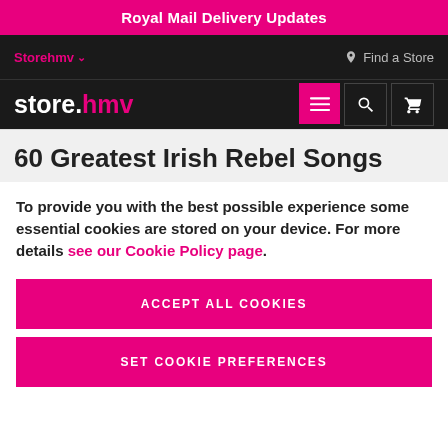Royal Mail Delivery Updates
Storehmv  Find a Store
store.hmv
60 Greatest Irish Rebel Songs
To provide you with the best possible experience some essential cookies are stored on your device. For more details see our Cookie Policy page.
ACCEPT ALL COOKIES
SET COOKIE PREFERENCES